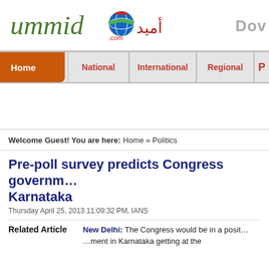[Figure (logo): Ummid.com website logo with Arabic script and globe icon]
Home | National | International | Regional
Welcome Guest! You are here: Home » Politics
Pre-poll survey predicts Congress government in Karnataka
Thursday April 25, 2013 11:09:32 PM, IANS
Related Article
New Delhi: The Congress would be in a position to form a government in Karnataka getting at the